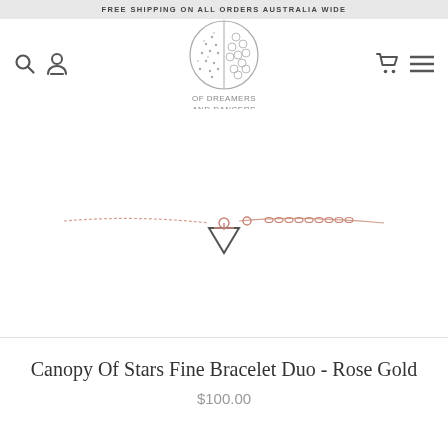FREE SHIPPING ON ALL ORDERS AUSTRALIA WIDE
[Figure (logo): Of Dreamers and Dancers circular logo with intricate geometric pattern, split circle design. Logo text reads: OF DREAMERS AND DANCERS]
[Figure (photo): Rose gold fine bracelet with diamond/triangle geometric pendant on a chain, photographed on white background]
Canopy Of Stars Fine Bracelet Duo - Rose Gold
$100.00